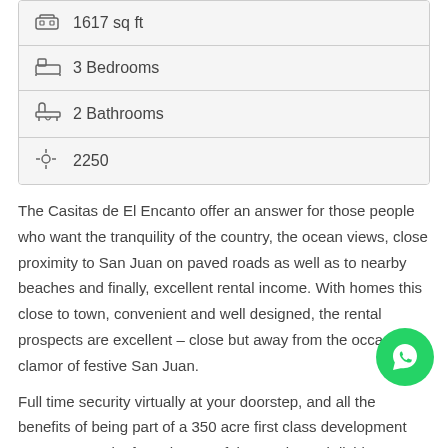1617 sq ft
3 Bedrooms
2 Bathrooms
2250
The Casitas de El Encanto offer an answer for those people who want the tranquility of the country, the ocean views, close proximity to San Juan on paved roads as well as to nearby beaches and finally, excellent rental income. With homes this close to town, convenient and well designed, the rental prospects are excellent – close but away from the occasional clamor of festive San Juan.
Full time security virtually at your doorstep, and all the benefits of being part of a 350 acre first class development are yours. Paths from the top of the continental divide to on property streams enable you to enjoy as well as the 50%